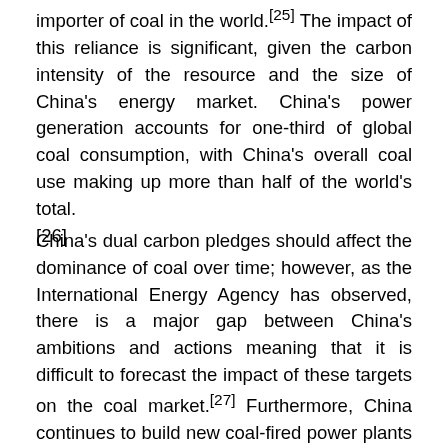importer of coal in the world.[25] The impact of this reliance is significant, given the carbon intensity of the resource and the size of China's energy market. China's power generation accounts for one-third of global coal consumption, with China's overall coal use making up more than half of the world's total.[26]
China's dual carbon pledges should affect the dominance of coal over time; however, as the International Energy Agency has observed, there is a major gap between China's ambitions and actions meaning that it is difficult to forecast the impact of these targets on the coal market.[27] Furthermore, China continues to build new coal-fired power plants as part of its post-pandemic economic recovery plan, and to address energy security. In